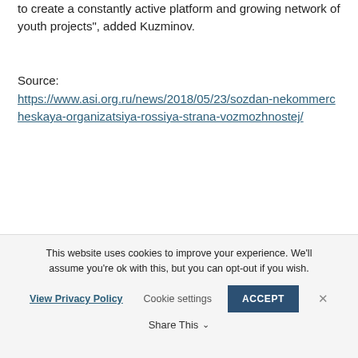to create a constantly active platform and growing network of youth projects", added Kuzminov.
Source: https://www.asi.org.ru/news/2018/05/23/sozdan-nekommercheskaya-organizatsiya-rossiya-strana-vozmozhnostej/
This website uses cookies to improve your experience. We'll assume you're ok with this, but you can opt-out if you wish.
View Privacy Policy  Cookie settings  ACCEPT  Share This